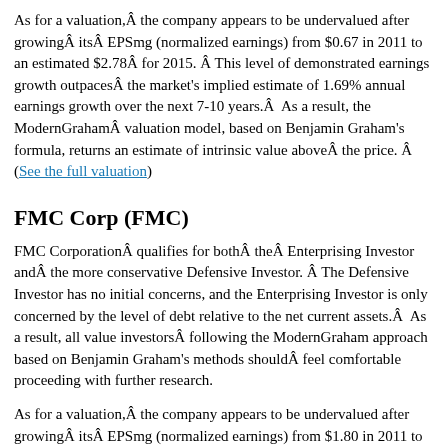As for a valuation, Â the company appears to be undervalued after growing Â its Â EPSmg (normalized earnings) from $0.67 in 2011 to an estimated $2.78 Â for 2015. Â This level of demonstrated earnings growth outpaces Â the market's implied estimate of 1.69% annual earnings growth over the next 7-10 years. Â As a result, the ModernGraham Â valuation model, based on Benjamin Graham's formula, returns an estimate of intrinsic value above Â the price. Â (See the full valuation)
FMC Corp (FMC)
FMC Corporation Â qualifies for both Â the Â Enterprising Investor and Â the more conservative Defensive Investor. Â The Defensive Investor has no initial concerns, and the Enterprising Investor is only concerned by the level of debt relative to the net current assets. Â As a result, all value investors Â following the ModernGraham approach based on Benjamin Graham's methods should Â feel comfortable proceeding with further research.
As for a valuation, Â the company appears to be undervalued after growing Â its Â EPSmg (normalized earnings) from $1.80 in 2011 to an estimated $3.53 for 2015. Â This level of demonstrated earnings growth outpaces Â the market's implied estimate of 0.74% annual earnings growth over the next 7-10 years. Â As a result, the...